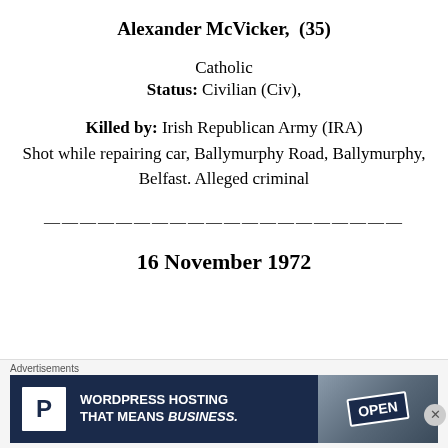Alexander McVicker, (35)
Catholic
Status: Civilian (Civ),
Killed by: Irish Republican Army (IRA)
Shot while repairing car, Ballymurphy Road, Ballymurphy, Belfast. Alleged criminal
————————————————————————
16 November 1972
Advertisements
[Figure (other): Advertisement banner for WordPress hosting service reading 'WORDPRESS HOSTING THAT MEANS BUSINESS.' with a P parking icon and an OPEN sign photo]